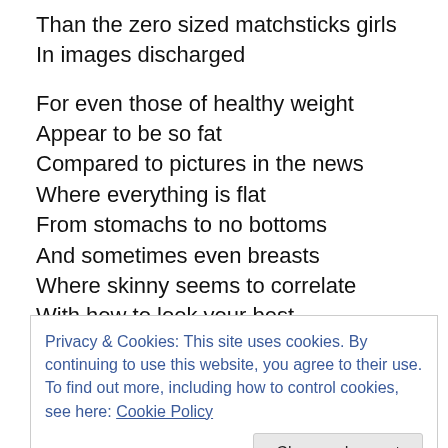Than the zero sized matchsticks girls
In images discharged
For even those of healthy weight
Appear to be so fat
Compared to pictures in the news
Where everything is flat
From stomachs to no bottoms
And sometimes even breasts
Where skinny seems to correlate
With how to look your best
Privacy & Cookies: This site uses cookies. By continuing to use this website, you agree to their use.
To find out more, including how to control cookies, see here: Cookie Policy
Close and accept
That are also cursed by women